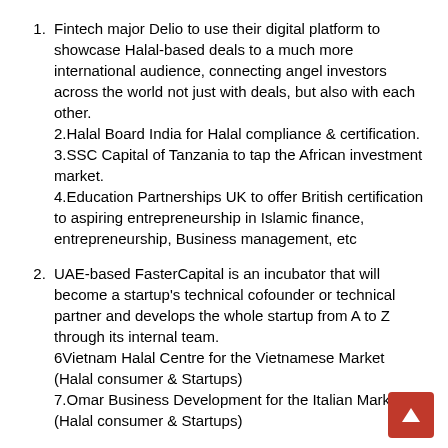Fintech major Delio to use their digital platform to showcase Halal-based deals to a much more international audience, connecting angel investors across the world not just with deals, but also with each other. 2.Halal Board India for Halal compliance & certification. 3.SSC Capital of Tanzania to tap the African investment market. 4.Education Partnerships UK to offer British certification to aspiring entrepreneurship in Islamic finance, entrepreneurship, Business management, etc
UAE-based FasterCapital is an incubator that will become a startup's technical cofounder or technical partner and develops the whole startup from A to Z through its internal team. 6Vietnam Halal Centre for the Vietnamese Market (Halal consumer & Startups) 7.Omar Business Development for the Italian Market (Halal consumer & Startups)